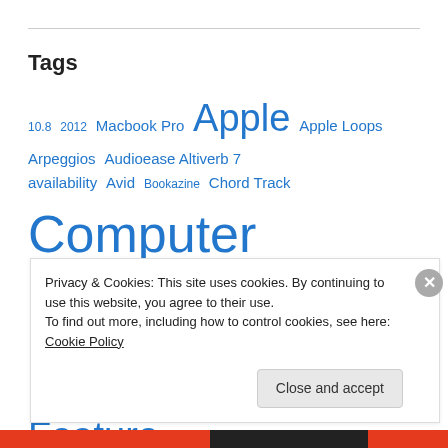Tags
10.8  2012  Macbook Pro  Apple  Apple Loops  Arpeggios  Audioease Altiverb 7  availability  Avid  Bookazine  Chord Track  Computer Music  computer music magazine  Cover Feature  Cubase  Cubase 6.5  Cubase 7  Dave Clews' Easy Guide  Easy Guide  Feature  Future Music  GarageBand
Privacy & Cookies: This site uses cookies. By continuing to use this website, you agree to their use. To find out more, including how to control cookies, see here: Cookie Policy